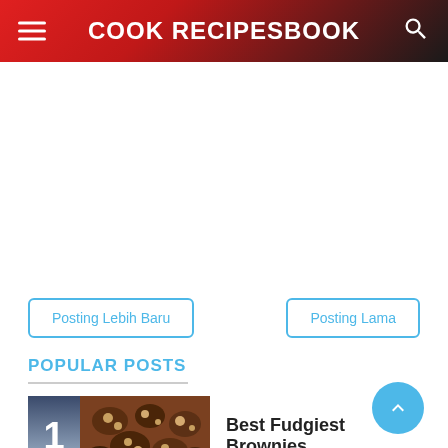COOK RECIPESBOOK
Posting Lebih Baru
Posting Lama
POPULAR POSTS
[Figure (photo): Thumbnail photo of fudgy brownies]
Best Fudgiest Brownies